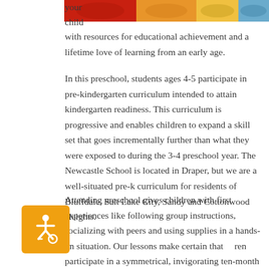[Figure (photo): Colorful image at top right, showing red, yellow, and blue/teal colors, partial view of what appears to be children's artwork or clothing.]
your child
with resources for educational achievement and a lifetime love of learning from an early age.
In this preschool, students ages 4-5 participate in pre-kindergarten curriculum intended to attain kindergarten readiness. This curriculum is progressive and enables children to expand a skill set that goes incrementally further than what they were exposed to during the 3-4 preschool year. The Newcastle School is located in Draper, but we are a well-situated pre-k curriculum for residents of Bluffdale, Salt Lake City, Sandy and Cottonwood Heights.
Attending preschool gives children with first experiences like following group instructions, socializing with peers and using supplies in a hands-on situation. Our lessons make certain that children participate in a symmetrical, invigorating ten-month educational experience that is intended to teach them a wide range of strengths and wisdom.
[Figure (illustration): Accessibility icon badge - orange/yellow square with wheelchair accessibility symbol in white.]